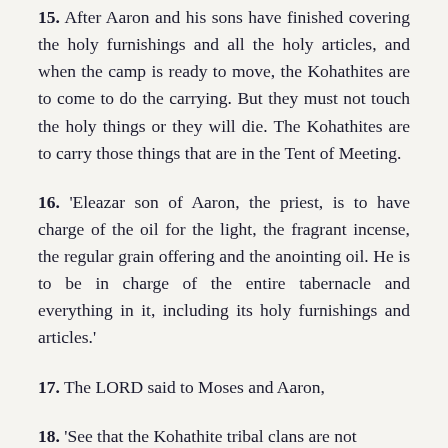15. After Aaron and his sons have finished covering the holy furnishings and all the holy articles, and when the camp is ready to move, the Kohathites are to come to do the carrying. But they must not touch the holy things or they will die. The Kohathites are to carry those things that are in the Tent of Meeting.
16. ‘Eleazar son of Aaron, the priest, is to have charge of the oil for the light, the fragrant incense, the regular grain offering and the anointing oil. He is to be in charge of the entire tabernacle and everything in it, including its holy furnishings and articles.’
17. The LORD said to Moses and Aaron,
18. ‘See that the Kohathite tribal clans are not